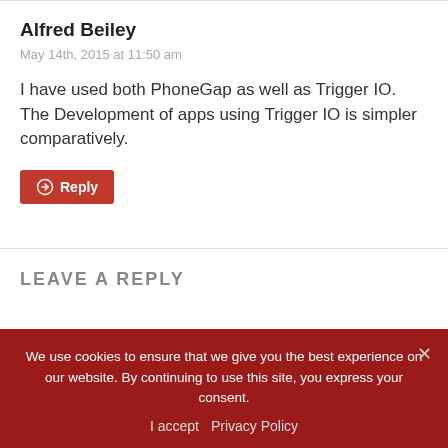Alfred Beiley
May 14th, 2015 at 11:50 am
I have used both PhoneGap as well as Trigger IO. The Development of apps using Trigger IO is simpler comparatively.
Reply
LEAVE A REPLY
We use cookies to ensure that we give you the best experience on our website. By continuing to use this site, you express your consent.
I accept   Privacy Policy